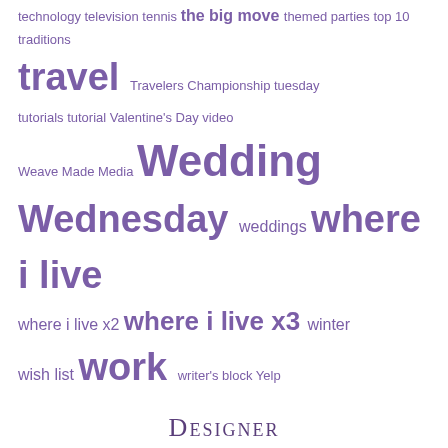technology television tennis the big move themed parties top 10 traditions travel Travelers Championship tuesday tutorials tutorial Valentine's Day video Weave Made Media Wedding Wednesday weddings where i live where i live x2 where i live x3 winter wish list work writer's block Yelp
Designer
[Figure (logo): Poppiness Designs logo with script text and watercolor floral blobs]